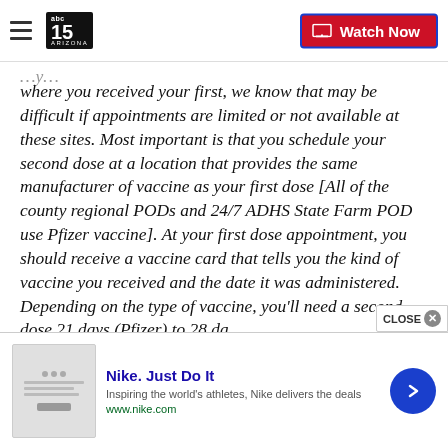abc15 ARIZONA — Watch Now
where you received your first, we know that may be difficult if appointments are limited or not available at these sites. Most important is that you schedule your second dose at a location that provides the same manufacturer of vaccine as your first dose [All of the county regional PODs and 24/7 ADHS State Farm POD use Pfizer vaccine]. At your first dose appointment, you should receive a vaccine card that tells you the kind of vaccine you received and the date it was administered. Depending on the type of vaccine, you'll need a second dose 21 days (Pfizer) to 28 da
[Figure (screenshot): Nike advertisement banner: Nike. Just Do It — Inspiring the world's athletes, Nike delivers the deals — www.nike.com]